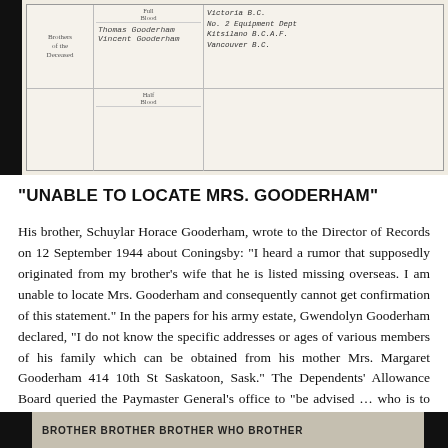[Figure (photo): Scanned handwritten document/form with table rows showing names and addresses including Thomas Gooderham, Vincent Gooderham, references to Victoria B.C. and No. 2 Equipment Depot Kitsilano B.C.A.F., Vancouver B.C.]
“UNABLE TO LOCATE MRS. GOODERHAM”
His brother, Schuylar Horace Gooderham, wrote to the Director of Records on 12 September 1944 about Coningsby: “I heard a rumor that supposedly originated from my brother’s wife that he is listed missing overseas. I am unable to locate Mrs. Gooderham and consequently cannot get confirmation of this statement.” In the papers for his army estate, Gwendolyn Gooderham declared, “I do not know the specific addresses or ages of various members of his family which can be obtained from his mother Mrs. Margaret Gooderham 414 10th St Saskatoon, Sask.” The Dependents’ Allowance Board queried the Paymaster General’s office to “be advised … who is to receive war service gratuity for the benefit” of his daughter. At the time of his death, an allowance of $20 was being paid to his widow.
[Figure (photo): Partially visible scanned document at bottom of page with printed text partially readable]